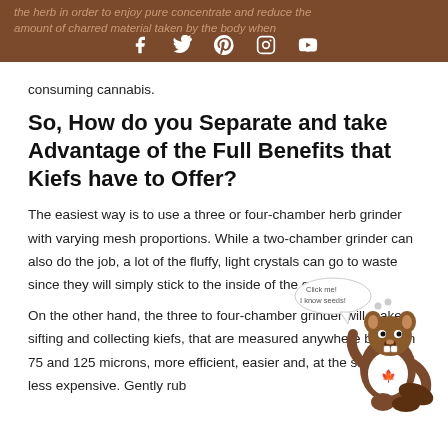the herb in order to enjoy pure concentrate and reduce the amount of charred material taken by the body when
[Figure (illustration): Social media icons (Facebook, Twitter, Pinterest, Instagram, YouTube) displayed on a brown header bar]
consuming cannabis.
So, How do you Separate and take Advantage of the Full Benefits that Kiefs have to Offer?
The easiest way is to use a three or four-chamber herb grinder with varying mesh proportions. While a two-chamber grinder can also do the job, a lot of the fluffy, light crystals can go to waste since they will simply stick to the inside of the grinder.
[Figure (illustration): Cartoon beaver character wearing a white t-shirt with a red maple leaf, with a speech bubble saying 'Click me! I know seeds!']
On the other hand, the three to four-chamber grinder will make sifting and collecting kiefs, that are measured anywhere between 75 and 125 microns, more efficient, easier and, at the same time, less expensive. Gently rub